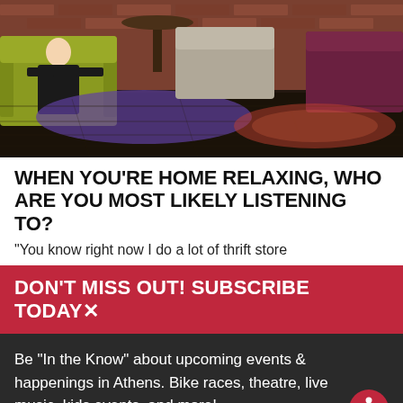[Figure (photo): Interior of a cozy lounge/cafe with a person sitting in a yellow-green armchair, dark wood floors, brick wall, mismatched chairs and rugs, warm ambient lighting.]
WHEN YOU'RE HOME RELAXING, WHO ARE YOU MOST LIKELY LISTENING TO?
"You know right now I do a lot of thrift store
DON'T MISS OUT! SUBSCRIBE TODAY✕
Be "In the Know" about upcoming events & happenings in Athens. Bike races, theatre, live music, kids events, and more!